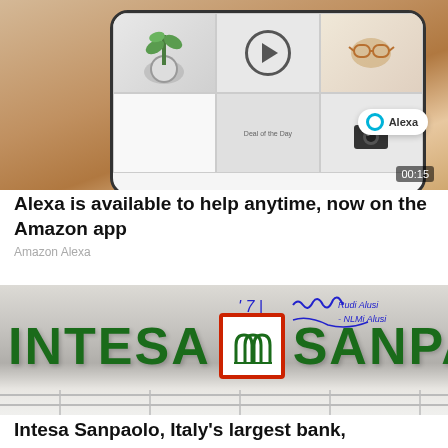[Figure (screenshot): Screenshot of an Amazon shopping app on a smartphone showing product thumbnails including a plant, sunglasses, and camera items, with Alexa button visible and a 00:15 video timestamp overlay, held by a hand.]
Alexa is available to help anytime, now on the Amazon app
Amazon Alexa
[Figure (photo): Photo of an Intesa Sanpaolo bank branch sign with large green letters reading INTESA SANPAOLO and the company's red-bordered logo with arches, with handwritten annotations visible at the top.]
Intesa Sanpaolo, Italy's largest bank,